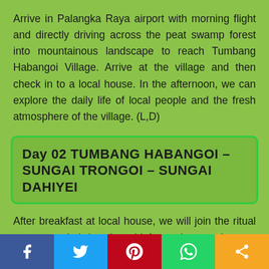Arrive in Palangka Raya airport with morning flight and directly driving across the peat swamp forest into mountainous landscape to reach Tumbang Habangoi Village. Arrive at the village and then check in to a local house. In the afternoon, we can explore the daily life of local people and the fresh atmosphere of the village. (L,D)
Day 02 TUMBANG HABANGOI – SUNGAI TRONGOI – SUNGAI DAHIYEI
After breakfast at local house, we will join the ritual ceremony led by the chief as the requirement before entering the sacred forest on our trekking trails. After
Facebook Twitter Pinterest WhatsApp Share